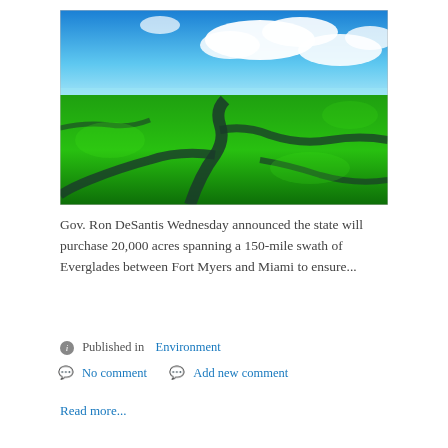[Figure (photo): Aerial photograph of the Florida Everglades showing winding waterways through dense green vegetation under a blue sky with clouds]
Gov. Ron DeSantis Wednesday announced the state will purchase 20,000 acres spanning a 150-mile swath of Everglades between Fort Myers and Miami to ensure...
Published in  Environment
No comment   Add new comment
Read more...